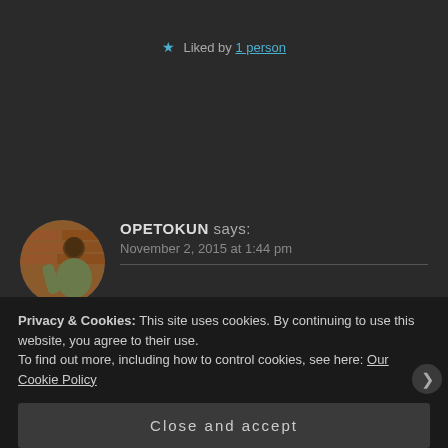★ Liked by 1 person
[Figure (photo): Circular avatar photo of a person (OPETOKUN) standing against a brick wall]
OPETOKUN says: November 2, 2015 at 1:44 pm
Wow! This is really scary.
★ Liked by 1 person
Privacy & Cookies: This site uses cookies. By continuing to use this website, you agree to their use.
To find out more, including how to control cookies, see here: Our Cookie Policy
Close and accept